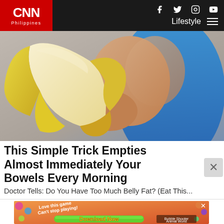CNN Philippines — Lifestyle
[Figure (photo): Close-up photo of a person in a blue athletic top peeling a banana]
This Simple Trick Empties Almost Immediately Your Bowels Every Morning
Doctor Tells: Do You Have Too Much Belly Fat? (Eat This...
[Figure (other): Mobile game advertisement: Love this game Can't stop playing! Download Now — Bubble Shooter Animal World]